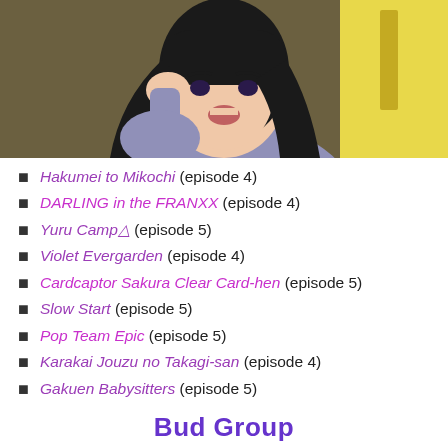[Figure (illustration): Anime character with long black hair and grey outfit, mouth open, looking upward slightly. Background has olive/dark green and yellow tones.]
Hakumei to Mikochi (episode 4)
DARLING in the FRANXX (episode 4)
Yuru Camp△ (episode 5)
Violet Evergarden (episode 4)
Cardcaptor Sakura Clear Card-hen (episode 5)
Slow Start (episode 5)
Pop Team Epic (episode 5)
Karakai Jouzu no Takagi-san (episode 4)
Gakuen Babysitters (episode 5)
Bud Group